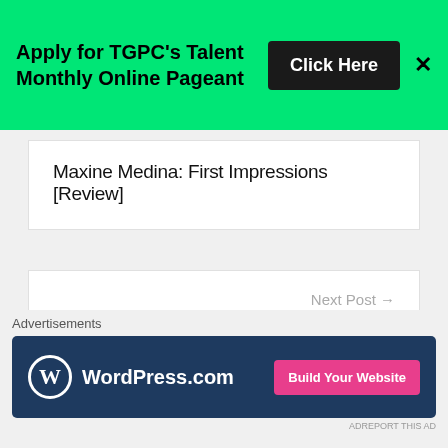[Figure (infographic): Green banner ad: 'Apply for TGPC's Talent Monthly Online Pageant' with a black 'Click Here' button and an X close button]
Maxine Medina: First Impressions [Review]
Next Post →
Pageant Questions Season 2 Episode 10 Results
Leave a Reply
[Figure (infographic): Advertisements bar with WordPress.com banner: blue background, WordPress logo, 'Build Your Website' pink button]